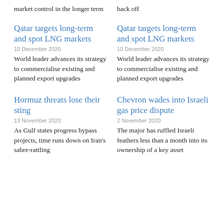market control in the longer term
back off
Qatar targets long-term and spot LNG markets
10 December 2020
World leader advances its strategy to commercialise existing and planned export upgrades
Qatar targets long-term and spot LNG markets
10 December 2020
World leader advances its strategy to commercialise existing and planned export upgrades
Hormuz threats lose their sting
13 November 2020
As Gulf states progress bypass projects, time runs down on Iran's sabre-rattling
Chevron wades into Israeli gas price dispute
2 November 2020
The major has ruffled Israeli feathers less than a month into its ownership of a key asset